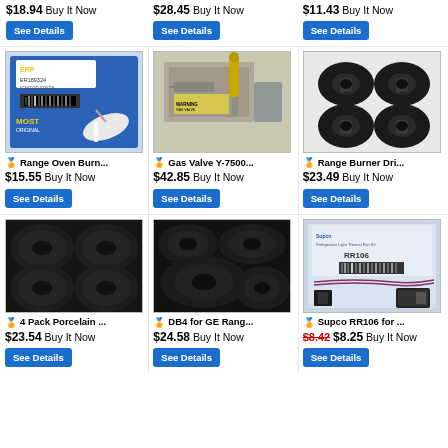$18.94 Buy It Now
See Details
$28.45 Buy It Now
See Details
$11.43 Buy It Now
See Details
[Figure (photo): ERP ER189324 Ignitor Spark part in blue packaging with spark ignitor component visible]
Range Oven Burn... $15.55 Buy It Now
See Details
[Figure (photo): Gas valve Y-7500 series component with warning label]
Gas Valve Y-7500... $42.85 Buy It Now
See Details
[Figure (photo): Set of 4 black porcelain range burner drip pans]
Range Burner Dri... $23.49 Buy It Now
See Details
[Figure (photo): 4 pack of black porcelain drip pans for range burners, various sizes]
4 Pack Porcelain ... $23.54 Buy It Now
See Details
[Figure (photo): DB4 black porcelain drip pans for GE range, set of pans in various sizes]
DB4 for GE Rang... $24.58 Buy It Now
See Details
[Figure (photo): Supco RR106 refrigerator relay kit with wire harness]
Supco RR106 for ... $8.25 Buy It Now (was $8.42)
See Details